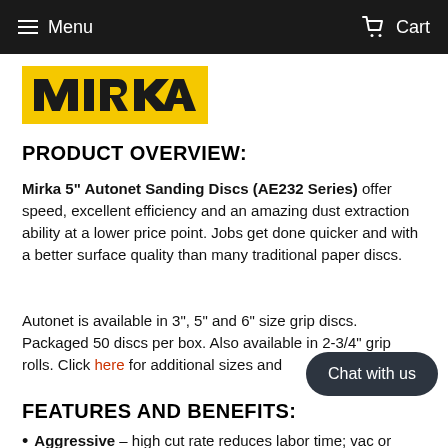Menu   Cart
[Figure (logo): Mirka logo — white text on yellow background]
PRODUCT OVERVIEW:
Mirka 5" Autonet Sanding Discs (AE232 Series) offer speed, excellent efficiency and an amazing dust extraction ability at a lower price point. Jobs get done quicker and with a better surface quality than many traditional paper discs.
Autonet is available in 3", 5" and 6" size grip discs. Packaged 50 discs per box. Also available in 2-3/4" grip rolls. Click here for additional sizes and
FEATURES AND BENEFITS:
Aggressive – high cut rate reduces labor time; vac or